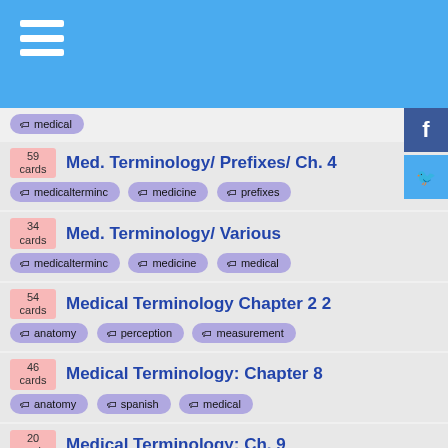medical
59 cards — Med. Terminology/ Prefixes/ Ch. 4 | tags: medicalterminology, medicine, prefixes
34 cards — Med. Terminology/ Various | tags: medicalterminology, medicine, medical
54 cards — Medical Terminology Chapter 2 2 | tags: anatomy, perception, measurement
46 cards — Medical Terminology: Chapter 8 | tags: anatomy, spanish, medical
20 cards — Medical Terminology: Ch. 9 | tags: anatomy, biology, medical
31 cards — Medical Terminology: Ch. 10 | tags: anatomy, nerve, spinal, n...
53 cards — Medical Terminology Chapter 3